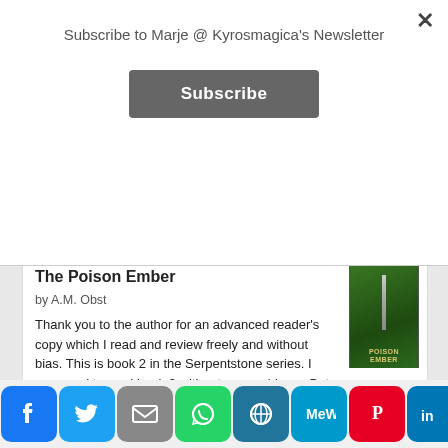Subscribe to Marje @ Kyrosmagica's Newsletter
Subscribe
dark poetry. Really enjoyed. Highly recomme...
The Poison Ember
by A.M. Obst
Thank you to the author for an advanced reader's copy which I read and review freely and without bias. This is book 2 in the Serpentstone series. I managed to read book 2 without any problems. But ideally, it would be best to read the 1...
Amanda in France: Fire in the Cathedral
Advertisements
[Figure (screenshot): DuckDuckGo advertisement banner: orange background with phone image, text 'Search, browse, and email with more privacy. All in One Free App']
[Figure (infographic): Social share bar with icons: Facebook, Twitter, Email, WhatsApp, WordPress, MeWe, Pinterest, LinkedIn, Tumblr, Amazon, More]